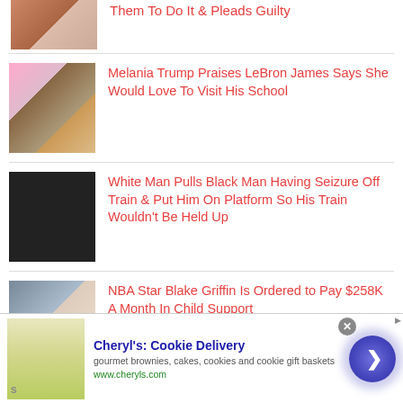[Figure (photo): Cropped photo collage of two people (mugshot style)]
Them To Do It & Pleads Guilty
[Figure (photo): Photo collage of Melania Trump, Donald Trump, and LeBron James]
Melania Trump Praises LeBron James Says She Would Love To Visit His School
[Figure (photo): Dark photo showing a person on a train platform]
White Man Pulls Black Man Having Seizure Off Train & Put Him On Platform So His Train Wouldn't Be Held Up
[Figure (photo): Photo collage of two people (Blake Griffin child support story)]
NBA Star Blake Griffin Is Ordered to Pay $258K A Month In Child Support
[Figure (photo): Advertisement image showing food/lemon]
Cheryl's: Cookie Delivery
gourmet brownies, cakes, cookies and cookie gift baskets
www.cheryls.com